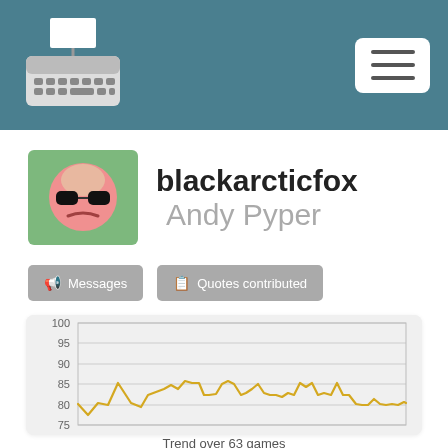blackarcticfox user profile page header with typewriter logo and menu button
[Figure (illustration): Cartoon avatar: bald figure with sunglasses and frown, on green background]
blackarcticfox Andy Pyper
Messages   Quotes contributed
[Figure (line-chart): Line chart showing trend over 63 games, y-axis from 75 to 100 (gridlines at 75, 80, 85, 90, 95, 100). Golden/yellow line with values fluctuating generally between 78 and 97.]
Trend over 63 games